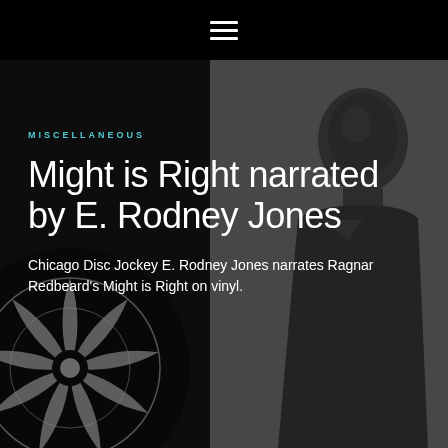≡
[Figure (photo): Background composite image: left side shows a dark black-and-white abstract circular/sun pattern graphic; right side shows a grayscale photograph of a Black man (E. Rodney Jones), both overlaid with a dark semi-transparent overlay.]
MISCELLANEOUS
Might is Right narrated by E. Rodney Jones
Chicago Disc Jockey E. Rodney Jones narrates Ragnar Redbeard's Might is Right on vinyl.